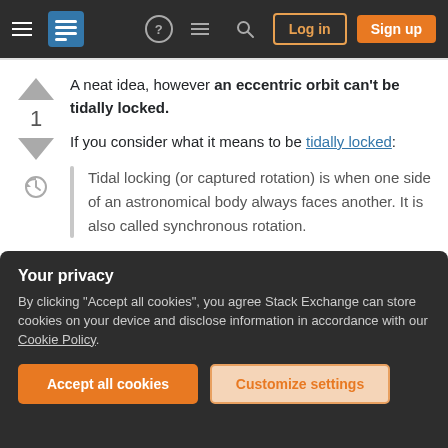Stack Exchange — Log in | Sign up
A neat idea, however an eccentric orbit can't be tidally locked.

If you consider what it means to be tidally locked:
Tidal locking (or captured rotation) is when one side of an astronomical body always faces another. It is also called synchronous rotation.
Your privacy

By clicking "Accept all cookies", you agree Stack Exchange can store cookies on your device and disclose information in accordance with our Cookie Policy.

Accept all cookies | Customize settings